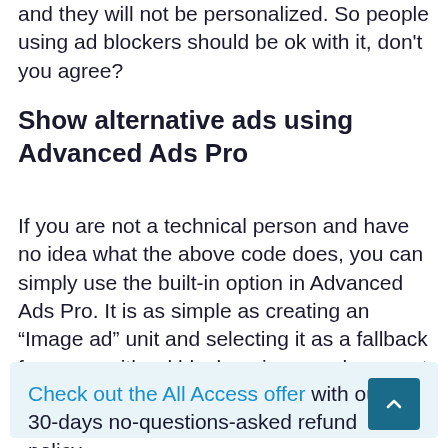and they will not be personalized. So people using ad blockers should be ok with it, don't you agree?
Show alternative ads using Advanced Ads Pro
If you are not a technical person and have no idea what the above code does, you can simply use the built-in option in Advanced Ads Pro. It is as simple as creating an “Image ad” unit and selecting it as a fallback for users with ad blockers in your placement settings.
Check out the All Access offer with our 30-days no-questions-asked refund policy.